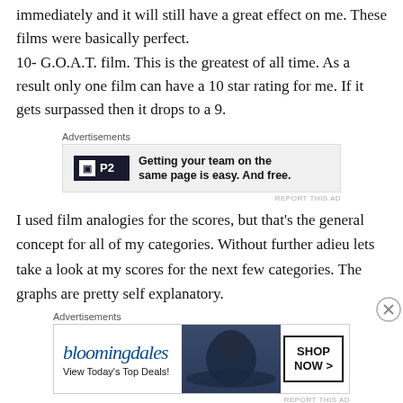immediately and it will still have a great effect on me. These films were basically perfect.
10- G.O.A.T. film. This is the greatest of all time. As a result only one film can have a 10 star rating for me. If it gets surpassed then it drops to a 9.
[Figure (other): Advertisement banner for P2 product: 'Getting your team on the same page is easy. And free.']
I used film analogies for the scores, but that's the general concept for all of my categories. Without further adieu lets take a look at my scores for the next few categories. The graphs are pretty self explanatory.
[Figure (other): Advertisement banner for Bloomingdale's: 'View Today's Top Deals!' with 'SHOP NOW >' button]